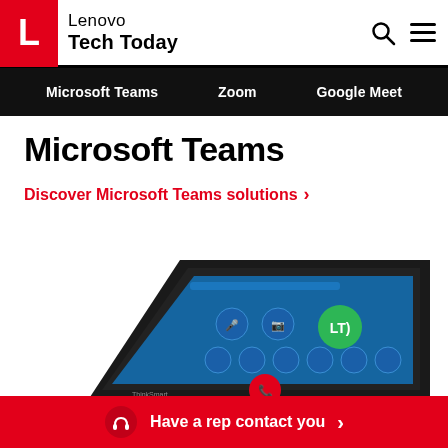Lenovo Tech Today — Microsoft Teams | Zoom | Google Meet
Microsoft Teams
Discover Microsoft Teams solutions >
[Figure (photo): Lenovo ThinkSmart tablet device showing Microsoft Teams interface with video call controls on a blue screen, viewed at an angle]
Have a rep contact you >